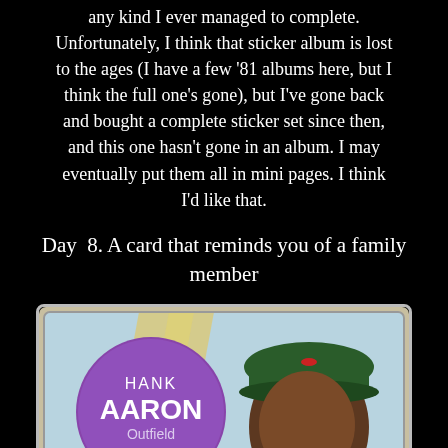any kind I ever managed to complete. Unfortunately, I think that sticker album is lost to the ages (I have a few '81 albums here, but I think the full one's gone), but I've gone back and bought a complete sticker set since then, and this one hasn't gone in an album. I may eventually put them all in mini pages. I think I'd like that.
Day  8. A card that reminds you of a family member
[Figure (photo): Vintage baseball card of Hank Aaron, Outfield, showing a purple circle with his name and a player portrait on a light blue background with diagonal stripe]